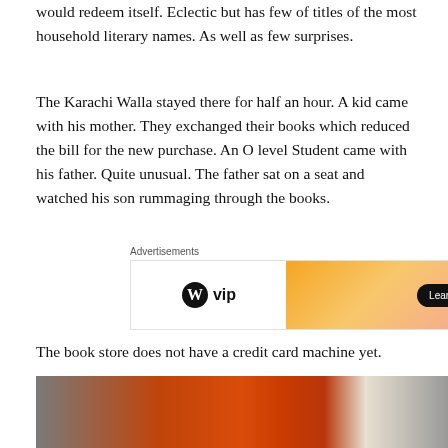would redeem itself. Eclectic but has few of titles of the most household literary names. As well as few surprises.
The Karachi Walla stayed there for half an hour. A kid came with his mother. They exchanged their books which reduced the bill for the new purchase. An O level Student came with his father. Quite unusual. The father sat on a seat and watched his son rummaging through the books.
[Figure (other): WordPress VIP advertisement banner with 'Learn more' button on gradient orange-pink background]
The book store does not have a credit card machine yet.
Visit the place and help them grow further.
[Figure (photo): Partial photo of a bookstore shelf with orange and red book spines visible at bottom of page]